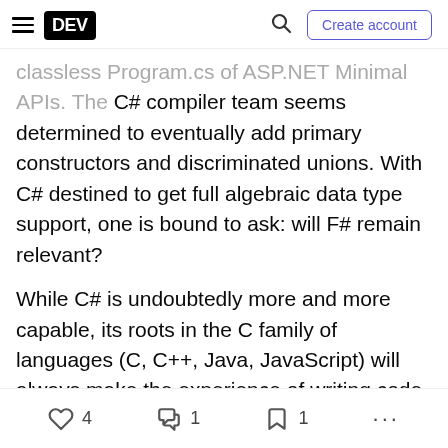DEV | Create account
classless Program.cs of ASP.NET Minimal APIs. The C# compiler team seems determined to eventually add primary constructors and discriminated unions. With C# destined to get full algebraic data type support, one is bound to ask: will F# remain relevant?
While C# is undoubtedly more and more capable, its roots in the C family of languages (C, C++, Java, JavaScript) will always make the experience of writing code in it somewhat akward in my opinion. F# remains and will remain vastly more concise, flexible and, to be perfectly objective, fun.
4 likes · 1 comment · 1 bookmark